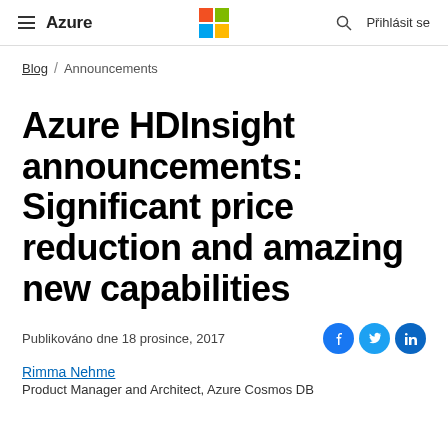Azure — Microsoft Azure blog navigation header with logo, search, and Přihlásit se
Blog / Announcements
Azure HDInsight announcements: Significant price reduction and amazing new capabilities
Publikováno dne 18 prosince, 2017
Rimma Nehme
Product Manager and Architect, Azure Cosmos DB